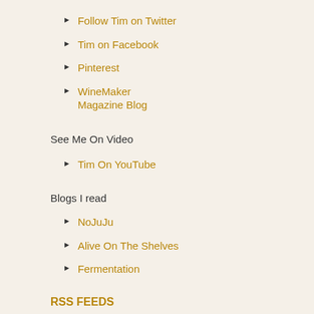Follow Tim on Twitter
Tim on Facebook
Pinterest
WineMaker Magazine Blog
See Me On Video
Tim On YouTube
Blogs I read
NoJuJu
Alive On The Shelves
Fermentation
RSS FEEDS
SUBSCRIBE
BOOKMARK
It's been a whirlwind 24 hours at the 20 White Rock to Walla Walla took a bit lo was beautiful and the scenery was sup
[Figure (photo): Broken/placeholder image thumbnail]
Rainforest or dese
I chronicled my adventure last night a